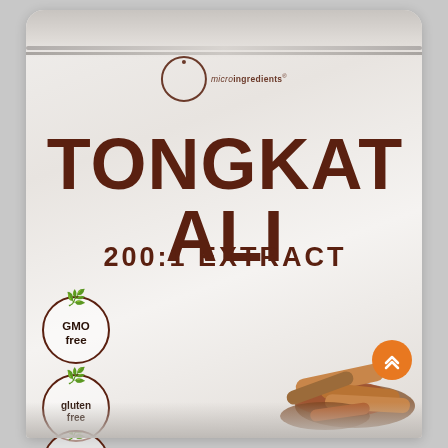[Figure (photo): Product packaging photo of Micro Ingredients Tongkat Ali 200:1 Extract supplement powder in a white metallic stand-up pouch bag. The bag features the brand logo at top center, large bold brown text reading TONGKAT ALI, subtitle 200:1 EXTRACT, and three certification badges on the lower left (GMO free, gluten free, dairy [free]). Lower right shows an image of root/bark pieces. An orange scroll-to-top button appears at lower right.]